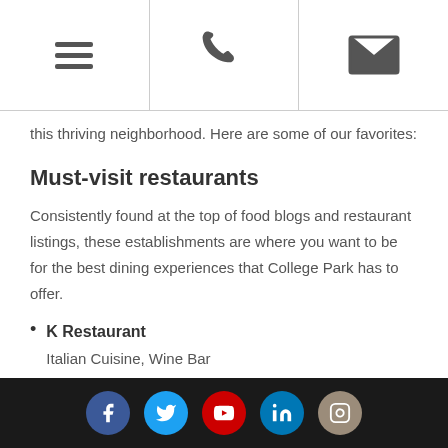[Navigation bar with hamburger menu, phone icon, and email icon]
this thriving neighborhood. Here are some of our favorites:
Must-visit restaurants
Consistently found at the top of food blogs and restaurant listings, these establishments are where you want to be for the best dining experiences that College Park has to offer.
K Restaurant
Italian Cuisine, Wine Bar
1710 Edgewater Drive, Orlando, FL 32804
If you're looking for the definitive dining
[Social media icons: Facebook, Twitter, YouTube, LinkedIn, Instagram]